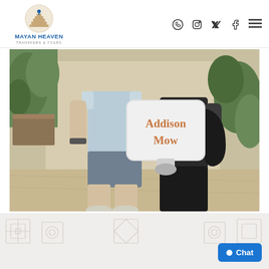Mayan Heaven Transfers & Tours — navigation header with social icons and hamburger menu
[Figure (photo): Two people standing outdoors; one holds a white sign reading 'Addison Mow' in orange/gold lettering. The person on the left wears a light blue tank top and gray shorts. The person on the right is dressed in black and holds a black jacket. Background shows plants and a sandy/paved area.]
Chat